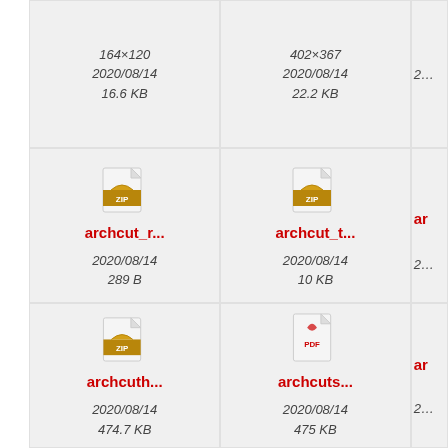164×120
2020/08/14
16.6 KB
402×367
2020/08/14
22.2 KB
[Figure (other): ZIP file icon with filename archcut_r... dated 2020/08/14, size 289 B]
[Figure (other): ZIP file icon with filename archcut_t... dated 2020/08/14, size 10 KB]
[Figure (other): ZIP file icon with filename archcuth... dated 2020/08/14, size 474.7 KB]
[Figure (other): PDF file icon with filename archcuts... dated 2020/08/14, size 475 KB]